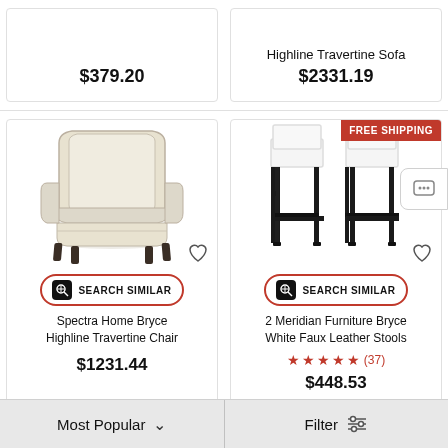$379.20
Highline Travertine Sofa
$2331.19
[Figure (photo): Cream/beige upholstered armchair with dark wood legs - Spectra Home Bryce Highline Travertine Chair]
SEARCH SIMILAR
Spectra Home Bryce Highline Travertine Chair
$1231.44
[Figure (photo): Two white faux leather bar stools with black metal frames and footrests]
FREE SHIPPING
SEARCH SIMILAR
2 Meridian Furniture Bryce White Faux Leather Stools
★★★★★ (37)
$448.53
Most Popular
Filter